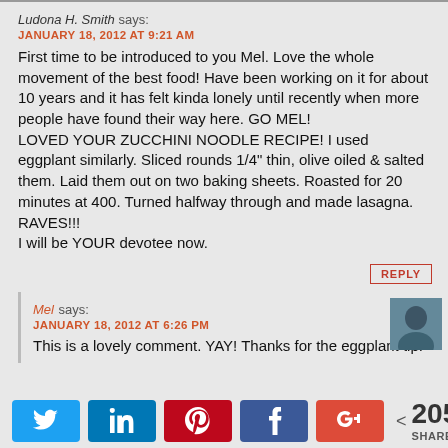Ludona H. Smith says: JANUARY 18, 2012 AT 9:21 AM
First time to be introduced to you Mel. Love the whole movement of the best food! Have been working on it for about 10 years and it has felt kinda lonely until recently when more people have found their way here. GO MEL!
LOVED YOUR ZUCCHINI NOODLE RECIPE! I used eggplant similarly. Sliced rounds 1/4" thin, olive oiled & salted them. Laid them out on two baking sheets. Roasted for 20 minutes at 400. Turned halfway through and made lasagna. RAVES!!!
I will be YOUR devotee now.
REPLY
Mel says: JANUARY 18, 2012 AT 6:26 PM
This is a lovely comment. YAY! Thanks for the eggplant tip.
[Figure (infographic): Social sharing bar with Twitter, LinkedIn, Pinterest, Facebook, Google+ buttons and share count of 205 SHARES]